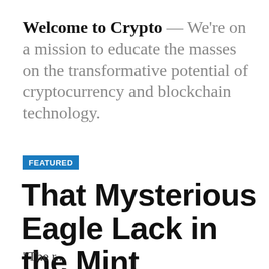Welcome to Crypto — We're on a mission to educate the masses on the transformative potential of cryptocurrency and blockchain technology.
FEATURED
That Mysterious Eagle Lack in the Mint
“The r...